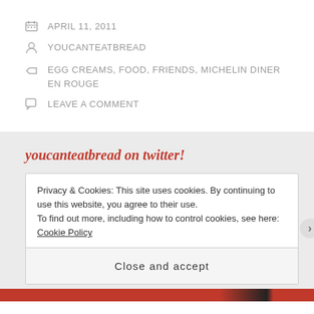APRIL 11, 2011
YOUCANTEATBREAD
EGG CREAMS, FOOD, FRIENDS, MICHELIN DINER EN ROUGE
LEAVE A COMMENT
youcanteatbread on twitter!
Privacy & Cookies: This site uses cookies. By continuing to use this website, you agree to their use. To find out more, including how to control cookies, see here: Cookie Policy
Close and accept